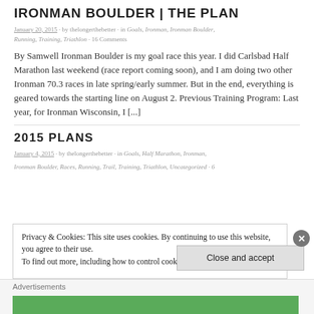IRONMAN BOULDER | THE PLAN
January 20, 2015 · by thelongerthebetter · in Goals, Ironman, Ironman Boulder, Running, Training, Triathlon · 16 Comments
By Samwell Ironman Boulder is my goal race this year. I did Carlsbad Half Marathon last weekend (race report coming soon), and I am doing two other Ironman 70.3 races in late spring/early summer. But in the end, everything is geared towards the starting line on August 2. Previous Training Program: Last year, for Ironman Wisconsin, I [...]
2015 PLANS
January 4, 2015 · by thelongerthebetter · in Goals, Half Marathon, Ironman, Ironman Boulder, Races, Running, Trail, Training, Triathlon, Uncategorized · 6
Privacy & Cookies: This site uses cookies. By continuing to use this website, you agree to their use.
To find out more, including how to control cookies, see here: Cookie Policy
Close and accept
Advertisements